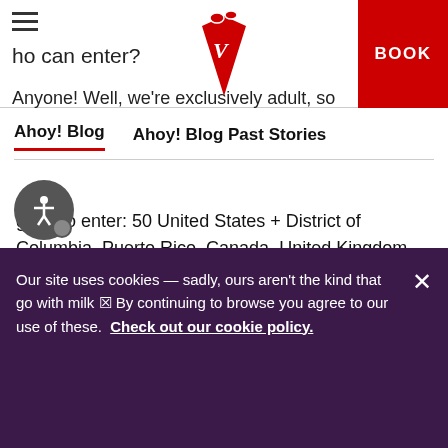Who can enter? | Ahoy! Blog | Ahoy! Blog Past Stories | BOOK
good to enter: 50 United States + District of Columbia, Puerto Rico, Canada, United Kingdom, Australia, Mexico, Germany, and Spain.
How long do I have to enter?
30 days from May 31st! So don't wait (and it literally takes 2 minutes to enter), because you won't want to miss this.
Our site uses cookies — sadly, ours aren't the kind that go with milk 🍪 By continuing to browse you agree to our use of these. Check out our cookie policy.